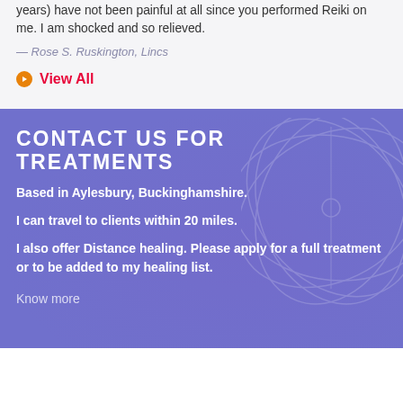years) have not been painful at all since you performed Reiki on me. I am shocked and so relieved.
— Rose S. Ruskington, Lincs
View All
CONTACT US FOR TREATMENTS
Based in Aylesbury, Buckinghamshire.
I can travel to clients within 20 miles.
I also offer Distance healing. Please apply for a full treatment or to be added to my healing list.
Know more